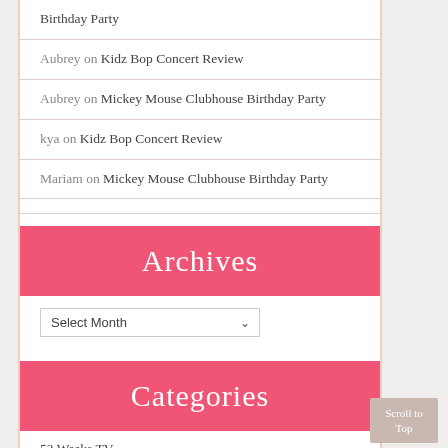Birthday Party
Aubrey on Kidz Bop Concert Review
Aubrey on Mickey Mouse Clubhouse Birthday Party
kya on Kidz Bop Concert Review
Mariam on Mickey Mouse Clubhouse Birthday Party
Archives
Select Month
Categories
53 Weeks TV